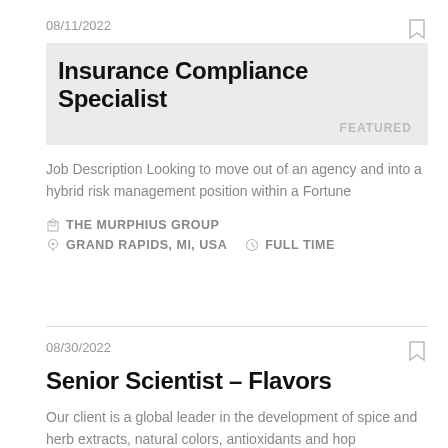08/11/2022
Insurance Compliance Specialist
FEATURED
Job Description Looking to move out of an agency and into a hybrid risk management position within a Fortune
THE MURPHIUS GROUP
GRAND RAPIDS, MI, USA   FULL TIME
08/30/2022
Senior Scientist – Flavors
Our client is a global leader in the development of spice and herb extracts, natural colors, antioxidants and hop